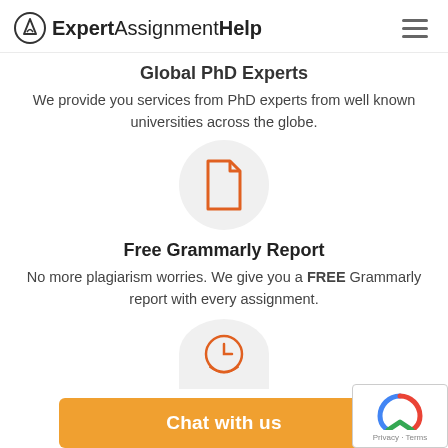ExpertAssignmentHelp
Global PhD Experts
We provide you services from PhD experts from well known universities across the globe.
[Figure (illustration): Orange document/file icon inside a light gray circle]
Free Grammarly Report
No more plagiarism worries. We give you a FREE Grammarly report with every assignment.
[Figure (illustration): Orange clock/alarm icon inside a light gray circle, partially visible at bottom]
Chat with us